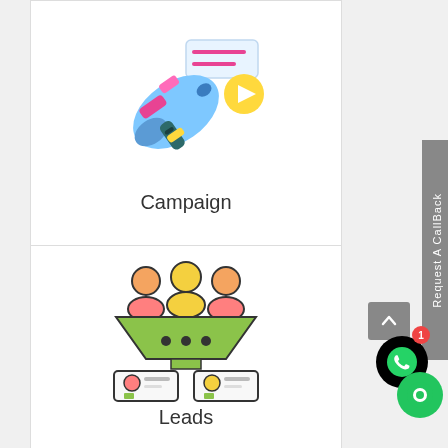[Figure (illustration): Megaphone/campaign icon with colorful design, blue and pink megaphone with yellow play button and red lines on speech bubble]
Campaign
[Figure (illustration): Leads funnel icon showing three people figures at top going into a green funnel, with two ID card outputs at bottom]
Leads